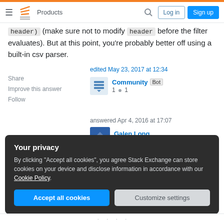Stack Overflow — Products | Log in | Sign up
header) (make sure not to modify header before the filter evaluates). But at this point, you're probably better off using a built-in csv parser.
Share
Improve this answer
Follow
edited May 23, 2017 at 12:34
Community Bot
1 ● 1
answered Apr 4, 2016 at 17:07
Galen Long
3,470 ●1 ●24 ●35
Your privacy
By clicking "Accept all cookies", you agree Stack Exchange can store cookies on your device and disclose information in accordance with our Cookie Policy.
Accept all cookies | Customize settings